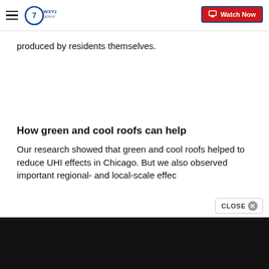WXYZ Detroit — Watch Now
produced by residents themselves.
How green and cool roofs can help
Our research showed that green and cool roofs helped to reduce UHI effects in Chicago. But we also observed important regional- and local-scale effec